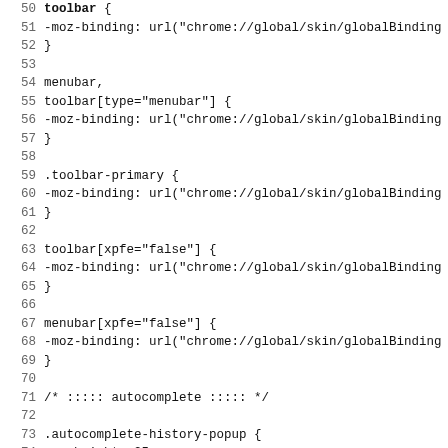Code listing lines 50-82: CSS rules for toolbar, menubar, .toolbar-primary, toolbar[xpfe], menubar[xpfe], .autocomplete-history-popup, #offline-status
51   -moz-binding: url("chrome://global/skin/globalBinding
52 }
53
54 menubar,
55 toolbar[type="menubar"] {
56    -moz-binding: url("chrome://global/skin/globalBinding
57 }
58
59 .toolbar-primary {
60    -moz-binding: url("chrome://global/skin/globalBinding
61 }
62
63 toolbar[xpfe="false"] {
64    -moz-binding: url("chrome://global/skin/globalBinding
65 }
66
67 menubar[xpfe="false"] {
68    -moz-binding: url("chrome://global/skin/globalBinding
69 }
70
71 /* ::::: autocomplete ::::: */
72
73 .autocomplete-history-popup {
74   max-height: 25em;
75 }
76
77 /* ::::: online/offline icons ::::: */
78
79 #offline-status[offline="true"] {
80    list-style-image: url("chrome://communicator/skin/ico
81 }
82